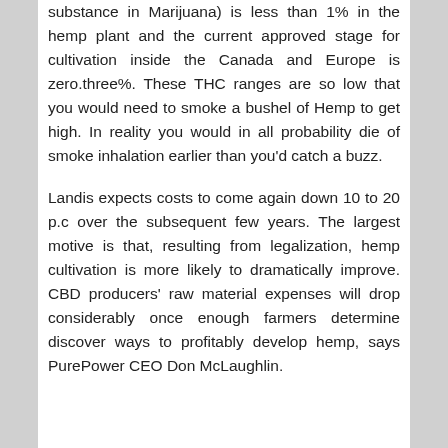substance in Marijuana) is less than 1% in the hemp plant and the current approved stage for cultivation inside the Canada and Europe is zero.three%. These THC ranges are so low that you would need to smoke a bushel of Hemp to get high. In reality you would in all probability die of smoke inhalation earlier than you'd catch a buzz.
Landis expects costs to come again down 10 to 20 p.c over the subsequent few years. The largest motive is that, resulting from legalization, hemp cultivation is more likely to dramatically improve. CBD producers' raw material expenses will drop considerably once enough farmers determine discover ways to profitably develop hemp, says PurePower CEO Don McLaughlin.